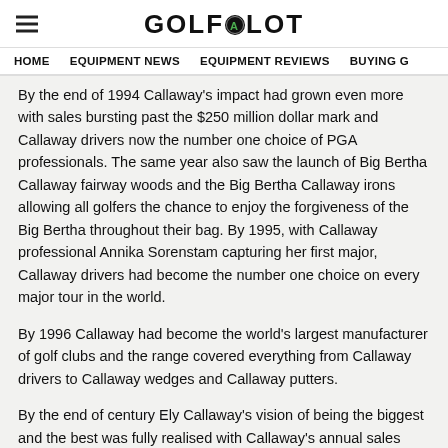GOLFALOT
HOME   EQUIPMENT NEWS   EQUIPMENT REVIEWS   BUYING G
By the end of 1994 Callaway's impact had grown even more with sales bursting past the $250 million dollar mark and Callaway drivers now the number one choice of PGA professionals. The same year also saw the launch of Big Bertha Callaway fairway woods and the Big Bertha Callaway irons allowing all golfers the chance to enjoy the forgiveness of the Big Bertha throughout their bag. By 1995, with Callaway professional Annika Sorenstam capturing her first major, Callaway drivers had become the number one choice on every major tour in the world.
By 1996 Callaway had become the world's largest manufacturer of golf clubs and the range covered everything from Callaway drivers to Callaway wedges and Callaway putters.
By the end of century Ely Callaway's vision of being the biggest and the best was fully realised with Callaway's annual sales now dwarfing their nearest competitors. In